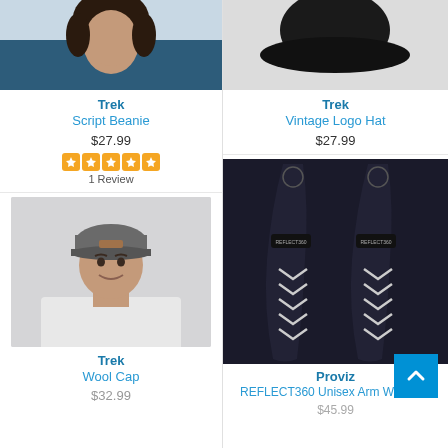[Figure (photo): Top portion of a woman wearing a dark blue top, photo cropped at shoulders/neck, Trek Script Beanie product image]
Trek
Script Beanie
$27.99
1 Review
[Figure (photo): Dark round object on gray background, Trek Vintage Logo Hat product image]
Trek
Vintage Logo Hat
$27.99
[Figure (photo): Smiling young man wearing a gray baseball cap with brown leather patch and white t-shirt, Trek Wool Cap product image]
Trek
Wool Cap
$32.99
[Figure (photo): Pair of black arm warmers with reflective chevron patterns and Reflect360 branding, Proviz product]
Proviz
REFLECT360 Unisex Arm Warmers
$45.99